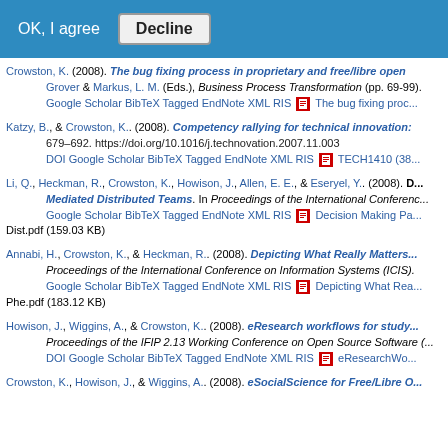OK, I agree  Decline
Crowston, K. (2008). The bug fixing process in proprietary and free/libre open ... Grover & Markus, L. M. (Eds.), Business Process Transformation (pp. 69-99). Google Scholar BibTeX Tagged EndNote XML RIS [PDF] The bug fixing proc...
Katzy, B., & Crowston, K.. (2008). Competency rallying for technical innovation:... 679–692. https://doi.org/10.1016/j.technovation.2007.11.003 DOI Google Scholar BibTeX Tagged EndNote XML RIS [PDF] TECH1410 (38...
Li, Q., Heckman, R., Crowston, K., Howison, J., Allen, E. E., & Eseryel, Y.. (2008). D... Mediated Distributed Teams. In Proceedings of the International Conference... Google Scholar BibTeX Tagged EndNote XML RIS [PDF] Decision Making Pa... Dist.pdf (159.03 KB)
Annabi, H., Crowston, K., & Heckman, R.. (2008). Depicting What Really Matters... Proceedings of the International Conference on Information Systems (ICIS). Google Scholar BibTeX Tagged EndNote XML RIS [PDF] Depicting What Rea... Phe.pdf (183.12 KB)
Howison, J., Wiggins, A., & Crowston, K.. (2008). eResearch workflows for study... Proceedings of the IFIP 2.13 Working Conference on Open Source Software (... DOI Google Scholar BibTeX Tagged EndNote XML RIS [PDF] eResearchWo...
Crowston, K., Howison, J., & Wiggins, A.. (2008). eSocialScience for Free/Libre O...